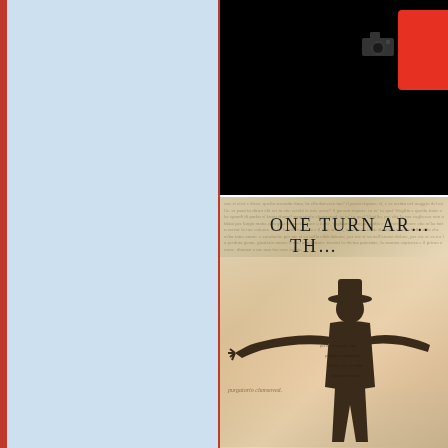[Figure (photo): Left panel with light blue background and a vertical red/orange stripe on the far left edge]
[Figure (photo): Top right: dark/black background photo showing a camera or device silhouette with a red rectangular block on the right side]
[Figure (photo): Bottom right: book cover image showing text 'ONE TURN AR... TH...' at the top with a silhouette of a man in a hat with arms outstretched, overlaid on text from a book (appears to be Purgatorio or similar Italian text)]